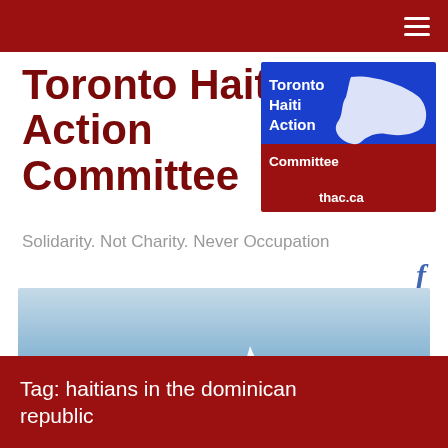Toronto Haiti Action Committee
[Figure (logo): Toronto Haiti Action Committee logo with blue and red background, map of Haiti, and URL thac.ca]
Solidarity. Not Charity. Never Occupation
[Figure (photo): A small boat on open blue sea with light sky above, a small sailboat visible in the distance]
Tag: haitians in the dominican republic